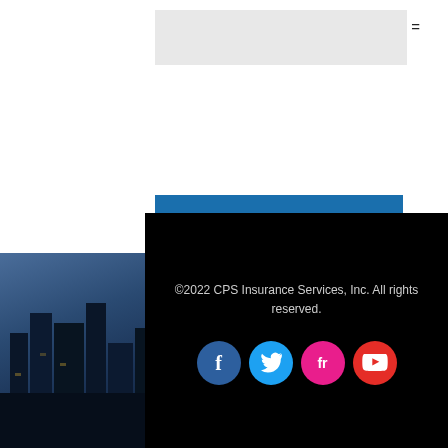five × 3 =
POST COMMENT
[Figure (photo): Dark background with blue-tinted cityscape/buildings photo on left side]
©2022 CPS Insurance Services, Inc. All rights reserved.
[Figure (other): Social media icons: Facebook (blue), Twitter (light blue), Friendfeed (pink/magenta), YouTube (red)]